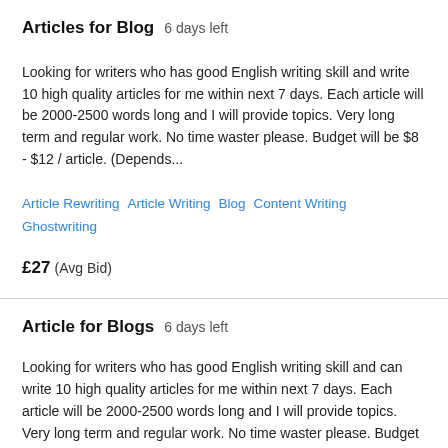Articles for Blog  6 days left
Looking for writers who has good English writing skill and write 10 high quality articles for me within next 7 days. Each article will be 2000-2500 words long and I will provide topics. Very long term and regular work. No time waster please. Budget will be $8 - $12 / article. (Depends...
Article Rewriting   Article Writing   Blog   Content Writing   Ghostwriting
£27  (Avg Bid)
Article for Blogs  6 days left
Looking for writers who has good English writing skill and can write 10 high quality articles for me within next 7 days. Each article will be 2000-2500 words long and I will provide topics. Very long term and regular work. No time waster please. Budget will be $8 - $12 / article. (Depends...
Article Rewriting   Article Writing   Blog   Content Writing